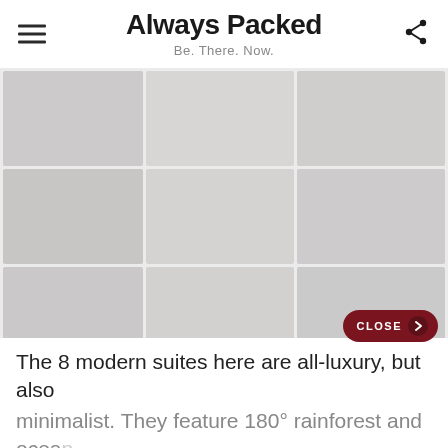Always Packed — Be. There. Now.
[Figure (photo): A greyed-out/blurred image gallery showing hotel suite photos in a grid layout, partially loaded or obscured]
The 8 modern suites here are all-luxury, but also minimalist. They feature 180° rainforest and ocean...